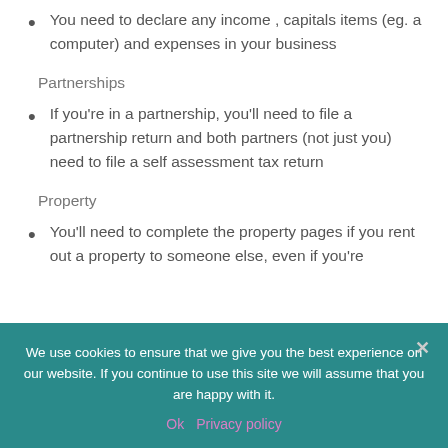You need to declare any income , capitals items (eg. a computer) and expenses in your business
Partnerships
If you're in a partnership, you'll need to file a partnership return and both partners (not just you) need to file a self assessment tax return
Property
You'll need to complete the property pages if you rent out a property to someone else, even if you're
We use cookies to ensure that we give you the best experience on our website. If you continue to use this site we will assume that you are happy with it.
Ok   Privacy policy